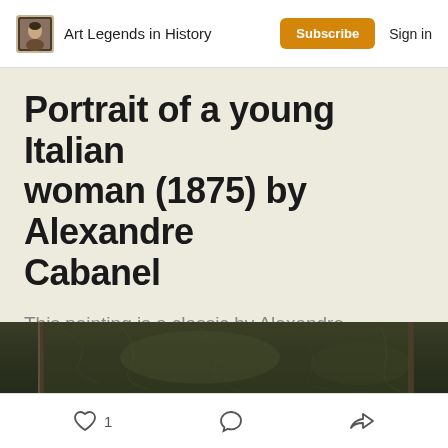Art Legends in History | Subscribe | Sign in
Portrait of a young Italian woman (1875) by Alexandre Cabanel
This painting is a classic by Alexandre Cabanel.
Editor
May 22
[Figure (photo): Top edge of a dark olive-green painting frame or canvas, showing cracked aged paint texture]
1 (like) | (comment) | (share)